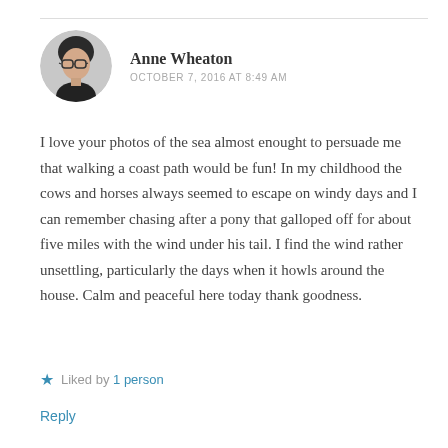[Figure (photo): Circular avatar photo of Anne Wheaton, a woman with glasses and dark hair, wearing a dark jacket, against a light background.]
Anne Wheaton
OCTOBER 7, 2016 AT 8:49 AM
I love your photos of the sea almost enought to persuade me that walking a coast path would be fun! In my childhood the cows and horses always seemed to escape on windy days and I can remember chasing after a pony that galloped off for about five miles with the wind under his tail. I find the wind rather unsettling, particularly the days when it howls around the house. Calm and peaceful here today thank goodness.
★ Liked by 1 person
Reply